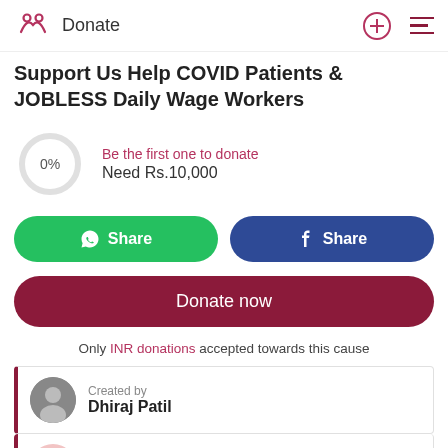Donate
Support Us Help COVID Patients & JOBLESS Daily Wage Workers
[Figure (donut-chart): 0% donut/circle chart showing fundraising progress at 0%]
Be the first one to donate
Need Rs.10,000
Share (WhatsApp) | Share (Facebook)
Donate now
Only INR donations accepted towards this cause
Created by
Dhiraj Patil
This fundraiser will benefit
Covid Affected...